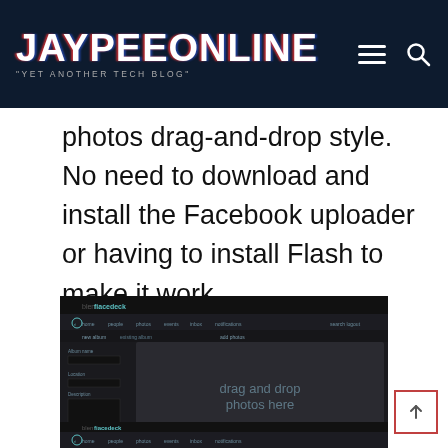JAYPEEONLINE "YET ANOTHER TECH BLOG"
photos drag-and-drop style. No need to download and install the Facebook uploader or having to install Flash to make it work.
[Figure (screenshot): Screenshot of a dark-themed web interface showing a 'new album' creation page with a large 'drag and drop photos here' drop zone in the center.]
[Figure (screenshot): Partial screenshot of the same dark-themed web interface, partially cut off at the bottom of the page.]